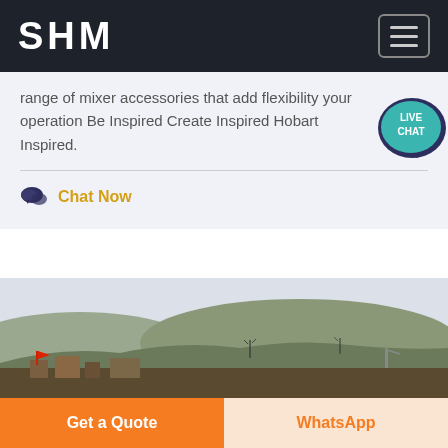SHM
range of mixer accessories that add flexibility your operation Be Inspired Create Inspired Hobart Inspired.
Chat Now
[Figure (photo): Outdoor industrial/mining site with hills and bare trees in the background, factory or plant structures in the foreground under an overcast sky.]
Get a Quote
WhatsApp